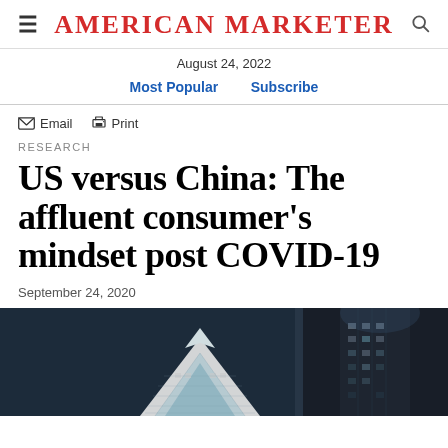American Marketer
August 24, 2022
Most Popular   Subscribe
Email   Print
RESEARCH
US versus China: The affluent consumer’s mindset post COVID-19
September 24, 2020
[Figure (photo): Architectural photo showing two buildings: a white diamond-shaped modern structure on the left and a dark cylindrical tower on the right, against a dark sky]